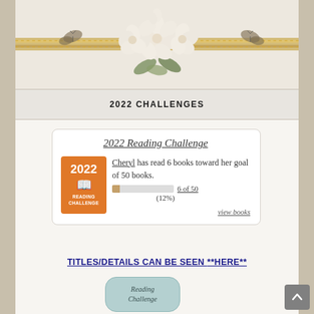[Figure (illustration): Decorative blog header with white/cream floral arrangement (magnolia-like flowers with green leaves) in center, flanked by two small butterflies on a golden/bronze striped banner ribbon, all on a light beige background.]
2022 CHALLENGES
[Figure (infographic): 2022 Reading Challenge widget. Orange badge on left showing '2022 READING CHALLENGE' with book icon. Text: 'Cheryl has read 6 books toward her goal of 50 books.' Progress bar at ~12% fill. Label: '6 of 50 (12%)'. Link: 'view books'. Title: '2022 Reading Challenge' (italic, underlined).]
TITLES/DETAILS CAN BE SEEN **HERE**
[Figure (illustration): Small rounded rectangle badge in teal/light blue color with text 'Reading Challenge' in italic serif font.]